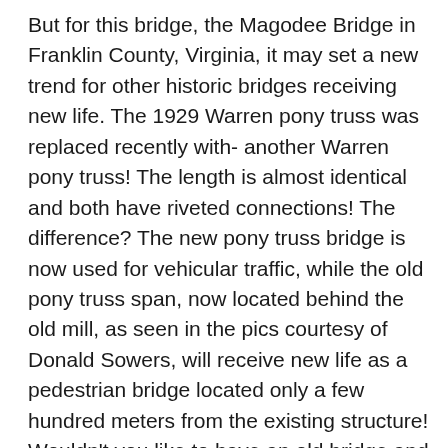But for this bridge, the Magodee Bridge in Franklin County, Virginia, it may set a new trend for other historic bridges receiving new life. The 1929 Warren pony truss was replaced recently with- another Warren pony truss! The length is almost identical and both have riveted connections! The difference? The new pony truss bridge is now used for vehicular traffic, while the old pony truss span, now located behind the old mill, as seen in the pics courtesy of Donald Sowers, will receive new life as a pedestrian bridge located only a few hundred meters from the existing structure! Wouldn't you like to have an old bridge and a new nearly identical span located not far from each other being used as a tourist trap? For the owner of the mill and the old bridge, the dream will become a reality. For more information on how to make the reality come true, please contact Mr. Sowers at this e-mail address: